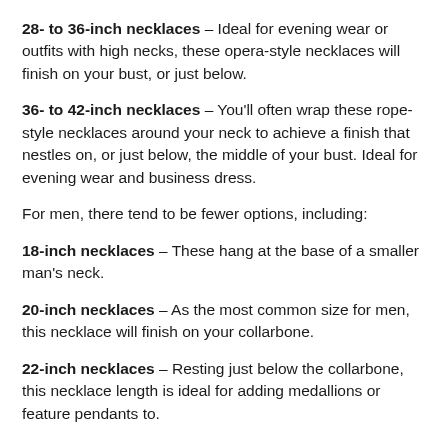28- to 36-inch necklaces – Ideal for evening wear or outfits with high necks, these opera-style necklaces will finish on your bust, or just below.
36- to 42-inch necklaces – You'll often wrap these rope-style necklaces around your neck to achieve a finish that nestles on, or just below, the middle of your bust. Ideal for evening wear and business dress.
For men, there tend to be fewer options, including:
18-inch necklaces – These hang at the base of a smaller man's neck.
20-inch necklaces – As the most common size for men, this necklace will finish on your collarbone.
22-inch necklaces – Resting just below the collarbone, this necklace length is ideal for adding medallions or feature pendants to.